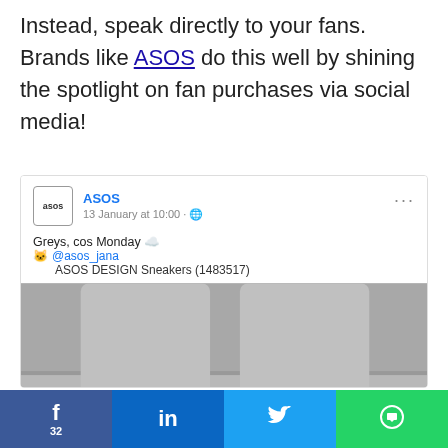Instead, speak directly to your fans. Brands like ASOS do this well by shining the spotlight on fan purchases via social media!
[Figure (screenshot): Screenshot of an ASOS Facebook post dated 13 January at 10:00, showing a user @asos_jana wearing ASOS DESIGN Sneakers (1483517) with grey Nike socks and Nike Air shoes, captioned 'Greys, cos Monday']